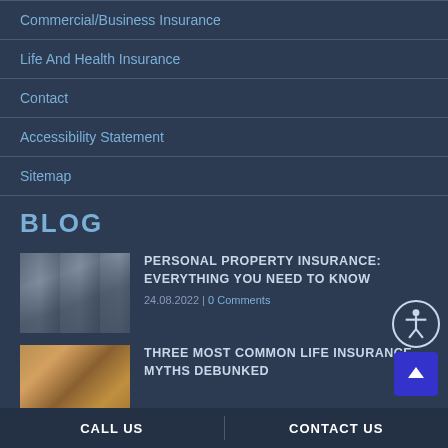Commercial/Business Insurance
Life And Health Insurance
Contact
Accessibility Statement
Sitemap
BLOG
[Figure (photo): Thumbnail image of a living room with fireplace]
PERSONAL PROPERTY INSURANCE: EVERYTHING YOU NEED TO KNOW
24.08.2022 | 0 Comments
[Figure (photo): Thumbnail image of a colorful artwork or painting]
THREE MOST COMMON LIFE INSURANCE MYTHS DEBUNKED
CALL US | CONTACT US